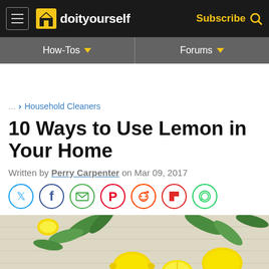doityourself — Subscribe
How-Tos | Forums
... > Household Cleaners
10 Ways to Use Lemon in Your Home
Written by Perry Carpenter on Mar 09, 2017
[Figure (infographic): Social sharing icons: Twitter, Facebook, Email, Pinterest, Reddit, Flipboard, WhatsApp]
[Figure (photo): Hero photo of lemons and green leaves on a white wooden surface]